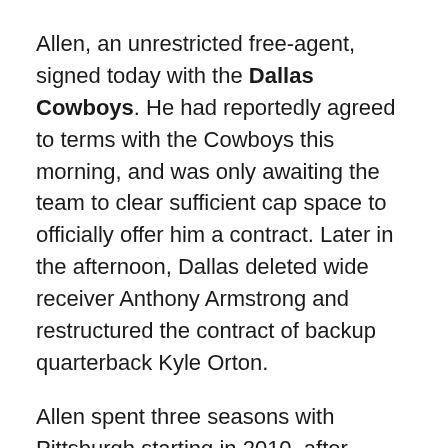Allen, an unrestricted free-agent, signed today with the Dallas Cowboys. He had reportedly agreed to terms with the Cowboys this morning, and was only awaiting the team to clear sufficient cap space to officially offer him a contract. Later in the afternoon, Dallas deleted wide receiver Anthony Armstrong and restructured the contract of backup quarterback Kyle Orton.
Allen spent three seasons with Pittsburgh starting in 2010, after beginning his career with the Tampa Bay Buccaneers as a fourth round draft pick out of Ohio State University.
During his time in Pittsburgh, most of Allen's contributions came on special teams, although it is his performances in the absence of Troy Polamalu which most garnered interest in him in free-agency. However,